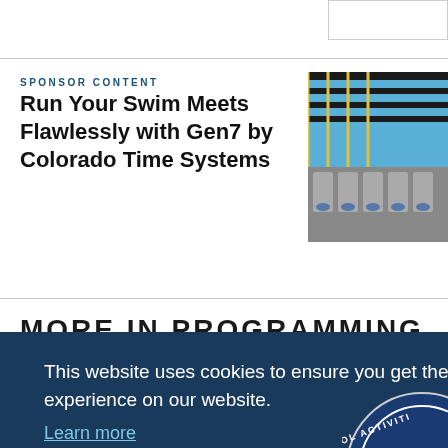[Figure (other): Partial border box at top right, likely an advertisement or content box partially visible]
SPONSOR CONTENT
Run Your Swim Meets Flawlessly with Gen7 by Colorado Time Systems
[Figure (photo): Photograph of a swimming pool with lane dividers and starting blocks, viewed from above]
MORE IN PROGRAMMING
This website uses cookies to ensure you get the best experience on our website.
Learn more
Got it!
[Figure (logo): Partial circular NFHS (National Federation of State High School Associations) logo badge]